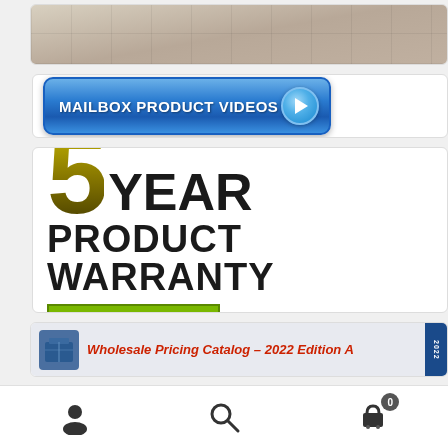[Figure (photo): Outdoor pavement/concrete surface photo showing mailbox installation]
[Figure (illustration): Blue button banner reading MAILBOX PRODUCT VIDEOS with a play button circle on the right]
[Figure (infographic): 5 YEAR PRODUCT WARRANTY badge with golden '5', bold black text and a yellow-green LEARN MORE button]
[Figure (screenshot): Wholesale Pricing Catalog – 2022 Edition A banner with blue shipping box icon and red italic text on light blue background]
Navigation toolbar with user icon, search icon, and shopping cart icon with badge 0